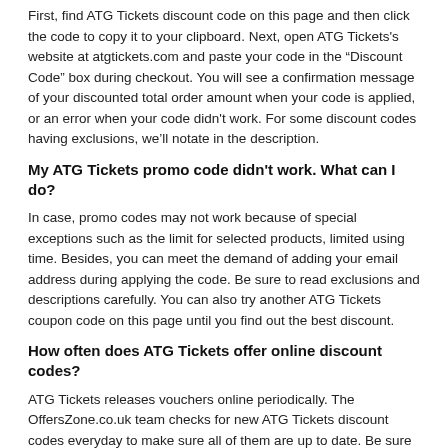First, find ATG Tickets discount code on this page and then click the code to copy it to your clipboard. Next, open ATG Tickets's website at atgtickets.com and paste your code in the “Discount Code” box during checkout. You will see a confirmation message of your discounted total order amount when your code is applied, or an error when your code didn't work. For some discount codes having exclusions, we’ll notate in the description.
My ATG Tickets promo code didn't work. What can I do?
In case, promo codes may not work because of special exceptions such as the limit for selected products, limited using time. Besides, you can meet the demand of adding your email address during applying the code. Be sure to read exclusions and descriptions carefully. You can also try another ATG Tickets coupon code on this page until you find out the best discount.
How often does ATG Tickets offer online discount codes?
ATG Tickets releases vouchers online periodically. The OffersZone.co.uk team checks for new ATG Tickets discount codes everyday to make sure all of them are up to date. Be sure